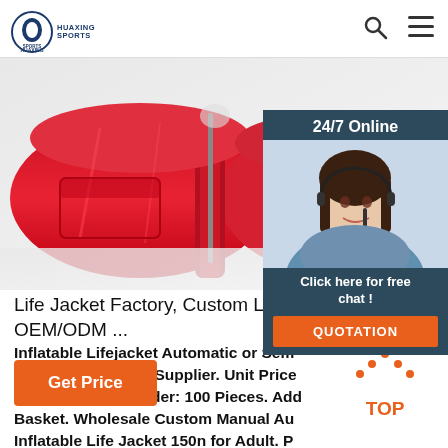HUAXING SPORTS
[Figure (photo): Red life jacket/inflatable vest product photo against light background]
[Figure (photo): 24/7 Online chat panel with female customer service agent wearing headset, overlay on right side. Includes 'Click here for free chat!' text and orange QUOTATION button.]
Life Jacket Factory, Custom Life Jacket OEM/ODM ...
Inflatable Lifejacket Automatic or Semi-Automatic Factory Supplier. Unit Price 17.5 Piece. Min. Order: 100 Pieces. Add Basket. Wholesale Custom Manual Auto Inflatable Life Jacket 150n for Adult. Product. Wholesale Custom Manual Auto Inflatable Life Jacket 150n for Adult.
Get Price